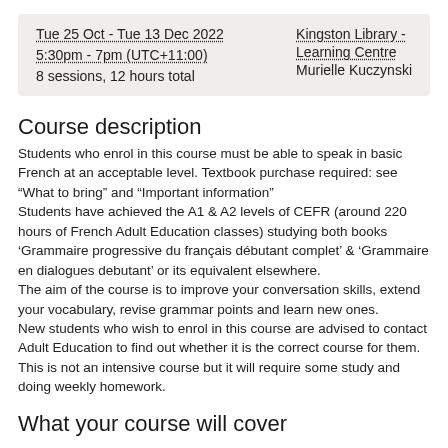| Tue 25 Oct - Tue 13 Dec 2022 | Kingston Library - Learning Centre |
| 5:30pm - 7pm (UTC+11:00) | Murielle Kuczynski |
| 8 sessions, 12 hours total |  |
Course description
Students who enrol in this course must be able to speak in basic French at an acceptable level. Textbook purchase required: see “What to bring” and "Important information"
Students have achieved the A1 & A2 levels of CEFR (around 220 hours of French Adult Education classes) studying both books ‘Grammaire progressive du français débutant complet’ & ‘Grammaire en dialogues debutant’ or its equivalent elsewhere.
The aim of the course is to improve your conversation skills, extend your vocabulary, revise grammar points and learn new ones.
New students who wish to enrol in this course are advised to contact Adult Education to find out whether it is the correct course for them.
This is not an intensive course but it will require some study and doing weekly homework.
What your course will cover